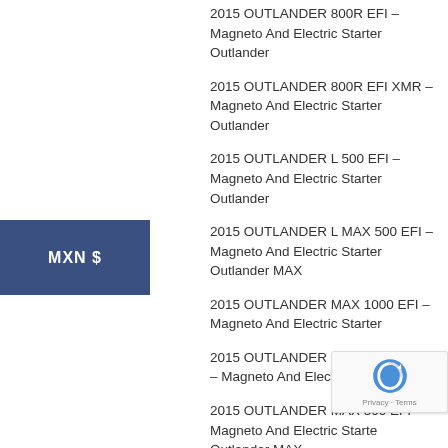2015 OUTLANDER 800R EFI – Magneto And Electric Starter Outlander
2015 OUTLANDER 800R EFI XMR – Magneto And Electric Starter Outlander
2015 OUTLANDER L 500 EFI – Magneto And Electric Starter Outlander
2015 OUTLANDER L MAX 500 EFI – Magneto And Electric Starter Outlander MAX
2015 OUTLANDER MAX 1000 EFI – Magneto And Electric Starter
2015 OUTLANDER MAX 1000 EFI LTD – Magneto And Electric Starter
2015 OUTLANDER MAX 500 EFI – Magneto And Electric Starter Outlander MAX
2015 OUTLANDER MAX 650 EFI –
MXN $